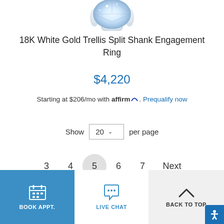[Figure (photo): Partial view of a diamond engagement ring stone at the top of the page]
18K White Gold Trellis Split Shank Engagement Ring
$4,220
Starting at $206/mo with affirm. Prequalify now
Show 20 per page
3  4  5  6  7  Next
BOOK APPT.  LIVE CHAT  BACK TO TOP